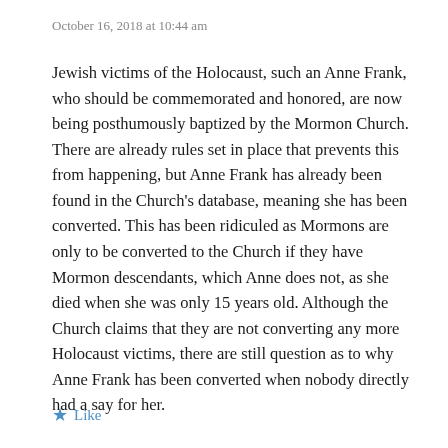October 16, 2018 at 10:44 am
Jewish victims of the Holocaust, such an Anne Frank, who should be commemorated and honored, are now being posthumously baptized by the Mormon Church. There are already rules set in place that prevents this from happening, but Anne Frank has already been found in the Church's database, meaning she has been converted. This has been ridiculed as Mormons are only to be converted to the Church if they have Mormon descendants, which Anne does not, as she died when she was only 15 years old. Although the Church claims that they are not converting any more Holocaust victims, there are still question as to why Anne Frank has been converted when nobody directly had a say for her.
★ Like